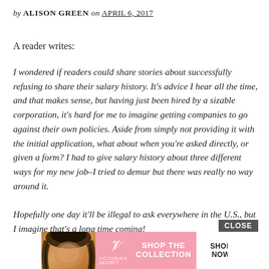by ALISON GREEN on APRIL 6, 2017
A reader writes:
I wondered if readers could share stories about successfully refusing to share their salary history. It’s advice I hear all the time, and that makes sense, but having just been hired by a sizable corporation, it’s hard for me to imagine getting companies to go against their own policies. Aside from simply not providing it with the initial application, what about when you’re asked directly, or given a form? I had to give salary history about three different ways for my new job–I tried to demur but there was really no way around it.

Hopefully one day it’ll be illegal to ask everywhere in the U.S., but I imagine that’s a long time coming!
[Figure (advertisement): Victoria's Secret advertisement banner with a model, VS logo, 'SHOP THE COLLECTION' text, and 'SHOP NOW' button. Close button above banner.]